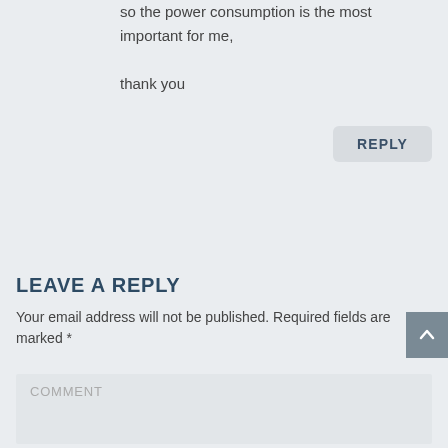so the power consumption is the most important for me,

thank you
REPLY
LEAVE A REPLY
Your email address will not be published. Required fields are marked *
COMMENT